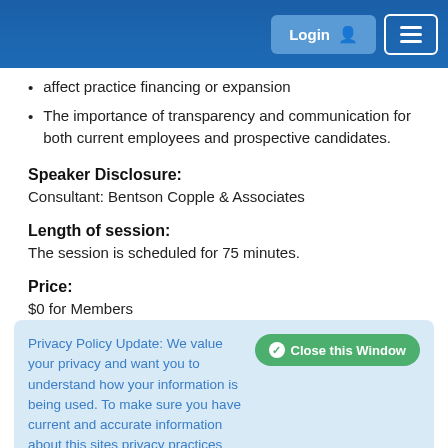Login  [menu]
affect practice financing or expansion
The importance of transparency and communication for both current employees and prospective candidates.
Speaker Disclosure:
Consultant: Bentson Copple & Associates
Length of session:
The session is scheduled for 75 minutes.
Price:
$0 for Members
Continuing Education:
Privacy Policy Update: We value your privacy and want you to understand how your information is being used. To make sure you have current and accurate information about this sites privacy practices please visit the privacy center by clicking here.
neither the content of a course nor the use of specific products in any program should be construed as indicating endorsement or